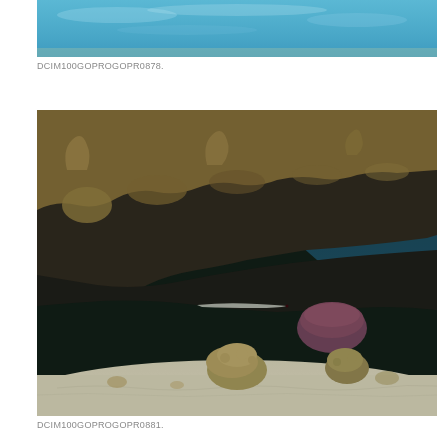[Figure (photo): Underwater photo showing clear blue ocean water with sandy bottom, partial view cropped at top of page.]
DCIM100GOPROGOPR0878.
[Figure (photo): Underwater GoPro photo showing coral reef with large coral overhang, a fish visible underneath, purple/brown barrel sponge, and sandy seafloor. Blue water visible in background.]
DCIM100GOPROGOPR0881.